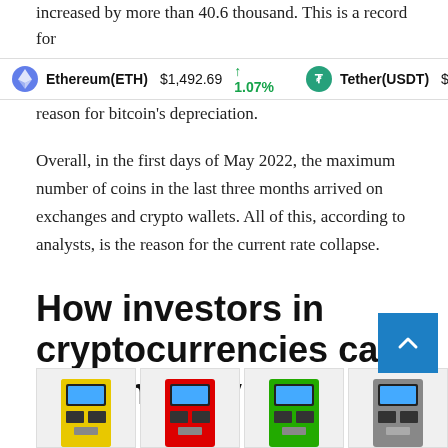increased by more than 40.6 thousand. This is a record for more than two years — the last time such a large drop was
Ethereum(ETH) $1,492.69 ↑ 1.07%   Tether(USDT) $1.00 ↓ -0.01
reason for bitcoin's depreciation.
Overall, in the first days of May 2022, the maximum number of coins in the last three months arrived on exchanges and crypto wallets. All of this, according to analysts, is the reason for the current rate collapse.
How investors in cryptocurrencies can save money
[Figure (photo): Row of four cryptocurrency ATM machines in yellow, red, green, and gray/silver colors shown at the bottom of the page]